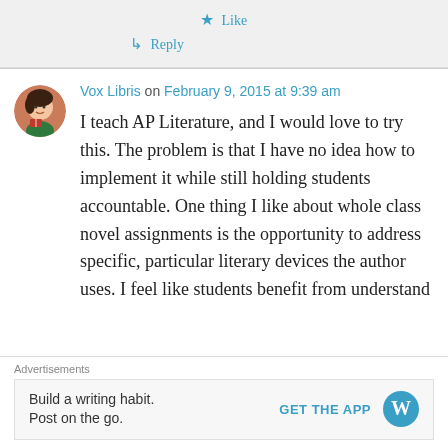★ Like
↳ Reply
Vox Libris on February 9, 2015 at 9:39 am
I teach AP Literature, and I would love to try this. The problem is that I have no idea how to implement it while still holding students accountable. One thing I like about whole class novel assignments is the opportunity to address specific, particular literary devices the author uses. I feel like students benefit from understand
Advertisements
Build a writing habit. Post on the go.
GET THE APP